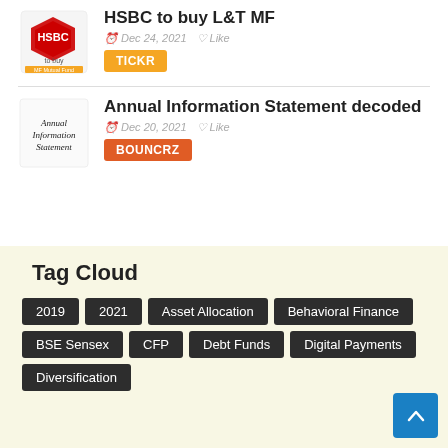[Figure (logo): HSBC to buy L&T Mutual Fund thumbnail image with HSBC logo]
HSBC to buy L&T MF
Dec 24, 2021  Like
TICKR
[Figure (illustration): Annual Information Statement thumbnail with text]
Annual Information Statement decoded
Dec 20, 2021  Like
BOUNCRZ
Tag Cloud
2019
2021
Asset Allocation
Behavioral Finance
BSE Sensex
CFP
Debt Funds
Digital Payments
Diversification